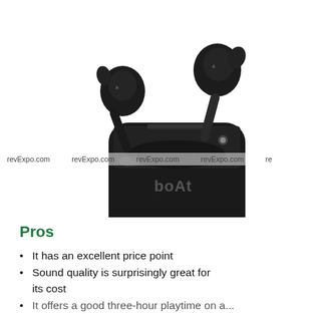[Figure (photo): boAt wireless earbuds in black color with charging case. Two earbuds shown above the open charging case with the boAt logo visible on the case.]
revExpo.com  revExpo.com  revExpo.com  revExpo.com  re
Pros
It has an excellent price point
Sound quality is surprisingly great for its cost
It offers a good three-hour playtime on a single charge